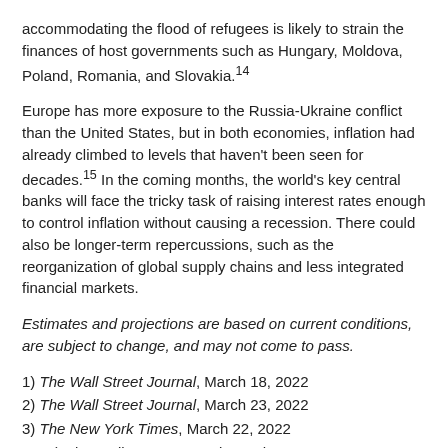accommodating the flood of refugees is likely to strain the finances of host governments such as Hungary, Moldova, Poland, Romania, and Slovakia.[14]
Europe has more exposure to the Russia-Ukraine conflict than the United States, but in both economies, inflation had already climbed to levels that haven’t been seen for decades.[15] In the coming months, the world’s key central banks will face the tricky task of raising interest rates enough to control inflation without causing a recession. There could also be longer-term repercussions, such as the reorganization of global supply chains and less integrated financial markets.
Estimates and projections are based on current conditions, are subject to change, and may not come to pass.
1) The Wall Street Journal, March 18, 2022
2) The Wall Street Journal, March 23, 2022
3) The New York Times, March 22, 2022
4, 15) The Wall Street Journal, March 7, 2022
5) The Wall Street Journal, March 16, 2022